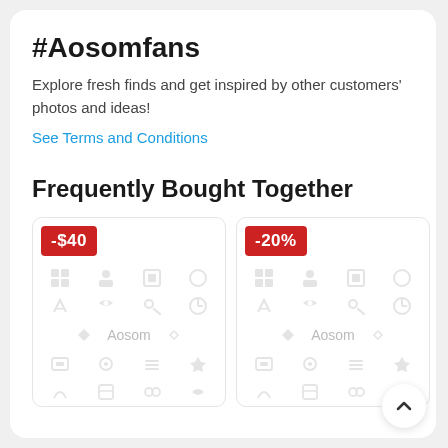#Aosomfans
Explore fresh finds and get inspired by other customers' photos and ideas!
See Terms and Conditions
Frequently Bought Together
[Figure (screenshot): Product card with -$40 discount badge and icon grid with Aosom branding]
[Figure (screenshot): Product card with -20% discount badge and icon grid with Aosom branding]
[Figure (screenshot): Partially visible third product card with red discount badge]